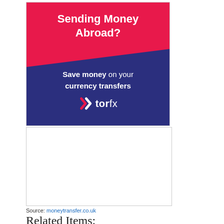[Figure (illustration): TorFX advertisement banner. Top pink/red section with white bold text 'Sending Money Abroad?'. Bottom dark navy section with diagonal pink shape, white text 'Save money on your currency transfers', and TorFX logo with white X icon.]
[Figure (other): Blank white advertisement placeholder box with light border.]
Source: moneytransfer.co.uk
Related Items: